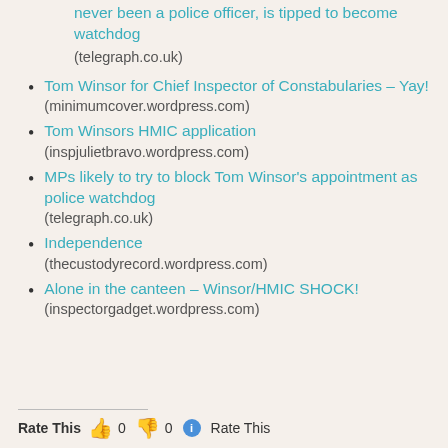never been a police officer, is tipped to become watchdog (telegraph.co.uk)
Tom Winsor for Chief Inspector of Constabularies – Yay! (minimumcover.wordpress.com)
Tom Winsors HMIC application (inspjulietbravo.wordpress.com)
MPs likely to try to block Tom Winsor's appointment as police watchdog (telegraph.co.uk)
Independence (thecustodyrecord.wordpress.com)
Alone in the canteen – Winsor/HMIC SHOCK! (inspectorgadget.wordpress.com)
Rate This  0  0  Rate This